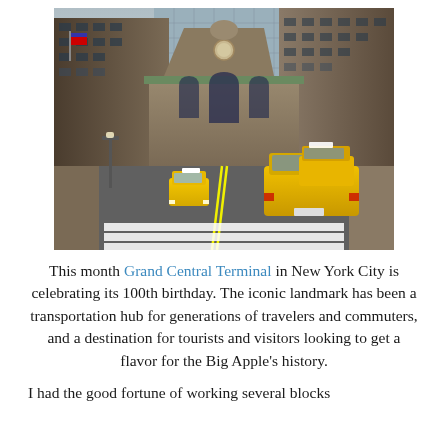[Figure (photo): Street-level photograph looking toward Grand Central Terminal in New York City, with yellow taxis lined up on the road in the foreground and tall buildings flanking both sides.]
This month Grand Central Terminal in New York City is celebrating its 100th birthday. The iconic landmark has been a transportation hub for generations of travelers and commuters, and a destination for tourists and visitors looking to get a flavor for the Big Apple's history.
I had the good fortune of working several blocks